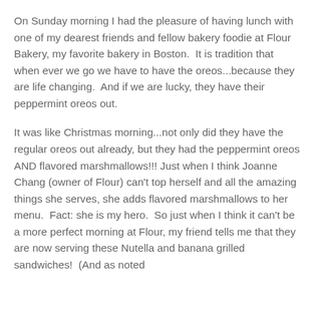On Sunday morning I had the pleasure of having lunch with one of my dearest friends and fellow bakery foodie at Flour Bakery, my favorite bakery in Boston.  It is tradition that when ever we go we have to have the oreos...because they are life changing.  And if we are lucky, they have their peppermint oreos out.
It was like Christmas morning...not only did they have the regular oreos out already, but they had the peppermint oreos AND flavored marshmallows!!! Just when I think Joanne Chang (owner of Flour) can't top herself and all the amazing things she serves, she adds flavored marshmallows to her menu.  Fact: she is my hero.  So just when I think it can't be a more perfect morning at Flour, my friend tells me that they are now serving these Nutella and banana grilled sandwiches!  (And as noted